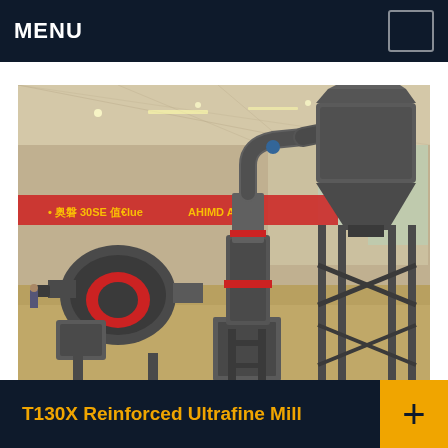MENU
[Figure (photo): Industrial T130X Reinforced Ultrafine Mill machinery displayed in a large factory/warehouse hall. The equipment features large grey cylindrical bodies, a blower/fan unit on the left, a central vertical mill tower with a curved duct at top, and a tall conical dust collector on the right mounted on a steel frame structure. Red and orange decorative banners hang in the background. The hall has a white lattice roof with strip lighting.]
T130X Reinforced Ultrafine Mill